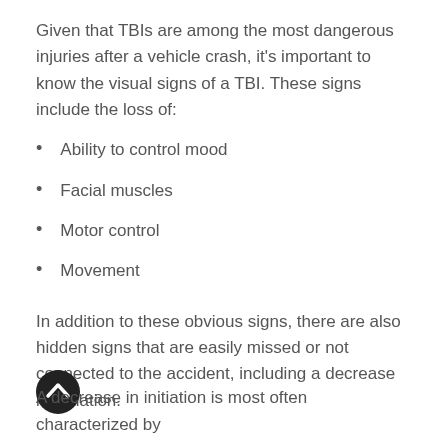Given that TBIs are among the most dangerous injuries after a vehicle crash, it's important to know the visual signs of a TBI. These signs include the loss of:
Ability to control mood
Facial muscles
Motor control
Movement
In addition to these obvious signs, there are also hidden signs that are easily missed or not connected to the accident, including a decrease in initiation.
A decrease in initiation is most often characterized by